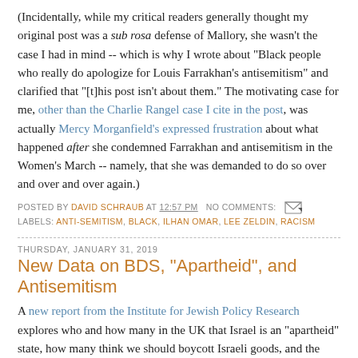(Incidentally, while my critical readers generally thought my original post was a sub rosa defense of Mallory, she wasn't the case I had in mind -- which is why I wrote about "Black people who really do apologize for Louis Farrakhan's antisemitism" and clarified that "[t]his post isn't about them." The motivating case for me, other than the Charlie Rangel case I cite in the post, was actually Mercy Morganfield's expressed frustration about what happened after she condemned Farrakhan and antisemitism in the Women's March -- namely, that she was demanded to do so over and over and over again.)
POSTED BY DAVID SCHRAUB AT 12:57 PM   NO COMMENTS:   [icon] LABELS: ANTI-SEMITISM, BLACK, ILHAN OMAR, LEE ZELDIN, RACISM
THURSDAY, JANUARY 31, 2019
New Data on BDS, "Apartheid", and Antisemitism
A new report from the Institute for Jewish Policy Research explores who and how many in the UK that Israel is an "apartheid" state, how many think we should boycott Israeli goods, and the relationship of both beliefs to antisemitism. It's fascinating just as a treasure trove of data (though I'm not 100% sold on the methodology the authors use to draw inferences from that data). But even just looking at face value, there's quite a lot I find interesting: